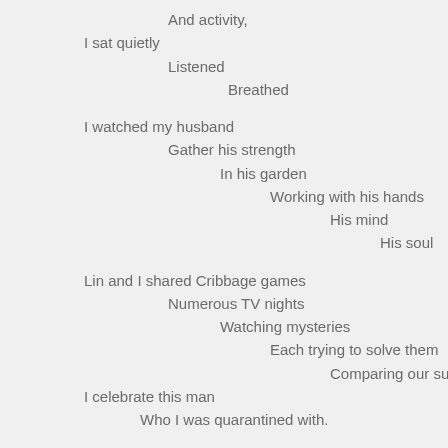And activity,
I sat quietly
    Listened
        Breathed

I watched my husband
    Gather his strength
        In his garden
            Working with his hands
                His mind
                    His soul

Lin and I shared Cribbage games
    Numerous TV nights
        Watching mysteries
            Each trying to solve them
                Comparing our suspects
I celebrate this man
    Who I was quarantined with.